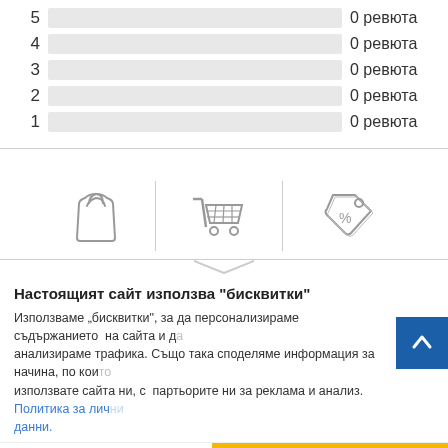| Rating | Bar | Count |
| --- | --- | --- |
| 5 |  | 0 ревюта |
| 4 |  | 0 ревюта |
| 3 |  | 0 ревюта |
| 2 |  | 0 ревюта |
| 1 |  | 0 ревюта |
[Figure (infographic): Three icons: shopping bag, shopping cart, and discount tag with percent sign, separated by vertical dividers and an underline with chevron]
Настоящият сайт използва "бисквитки"
Използваме „бисквитки", за да персонализираме съдържанието на сайта и да анализираме трафика. Също така споделяме информация за начина, по който използвате сайта ни, с партьорите ни за реклама и анализ. Политика за лични данни.
Управлявай предпочитанията
Позволи всички "бисквитки"